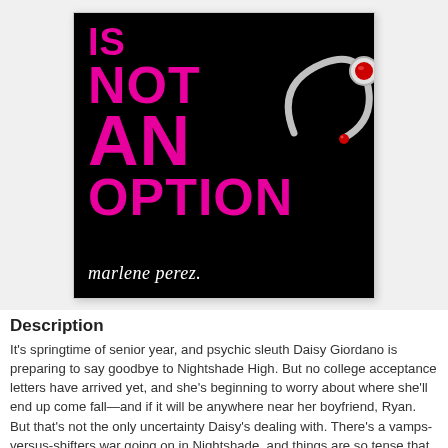[Figure (illustration): Book cover for 'Is Not An Option' by Marlene Perez. Black background with large bold hot-pink text reading 'IS NOT AN OPTION' and a silver ring with a red gemstone overlaid on the text. Author name 'marlene perez' in white cursive script at the bottom.]
Description
It's springtime of senior year, and psychic sleuth Daisy Giordano is preparing to say goodbye to Nightshade High. But no college acceptance letters have arrived yet, and she's beginning to worry about where she'll end up come fall—and if it will be anywhere near her boyfriend, Ryan. But that's not the only uncertainty Daisy's dealing with. There's a vamps-versus-shifters war going on in Nightshade, and things are so tense that there is talk of canceling the prom. The conflict is carrying over to the Giordano home, since Rose and Daisy are both dating werewolves and Poppy's new boyfriend is...